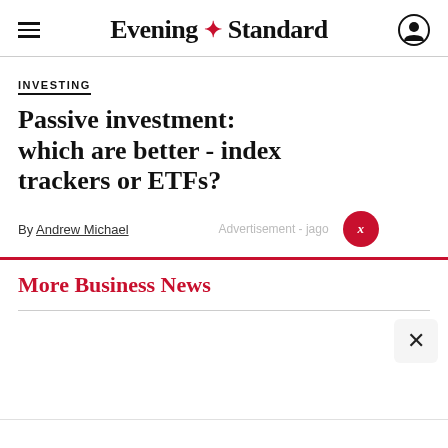Evening Standard
INVESTING
Passive investment: which are better - index trackers or ETFs?
By Andrew Michael
Advertisement - jago
More Business News